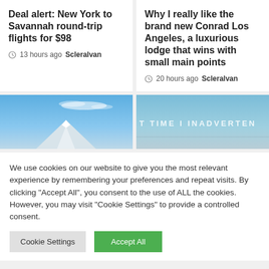Deal alert: New York to Savannah round-trip flights for $98
13 hours ago  Scleralvan
Why I really like the brand new Conrad Los Angeles, a luxurious lodge that wins with small main points
20 hours ago  Scleralvan
[Figure (photo): Mountain peak with blue sky and clouds above]
[Figure (photo): Blue sky background with text overlay reading T TIME I INADVERTEN]
We use cookies on our website to give you the most relevant experience by remembering your preferences and repeat visits. By clicking "Accept All", you consent to the use of ALL the cookies. However, you may visit "Cookie Settings" to provide a controlled consent.